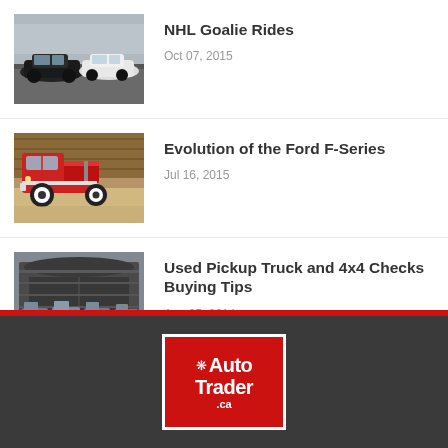[Figure (photo): Black sports cars (McLaren) at an outdoor car show event]
NHL Goalie Rides
Oct 07, 2015
[Figure (photo): Vintage red Ford F-series pickup truck from the 1950s on a show floor]
Evolution of the Ford F-Series
Jul 16, 2015
[Figure (photo): Multiple pickup trucks parked in front of a large warehouse/hangar building]
Used Pickup Truck and 4x4 Checks Buying Tips
Aug 05, 2014
[Figure (logo): AutoTrader.ca logo — red box with white maple leaf and Auto Trader text]